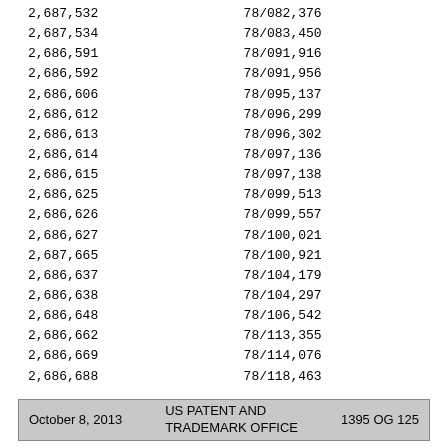| Registration No. | Serial No. |
| --- | --- |
| 2,687,532 | 78/082,376 |
| 2,687,534 | 78/083,450 |
| 2,686,591 | 78/091,916 |
| 2,686,592 | 78/091,956 |
| 2,686,606 | 78/095,137 |
| 2,686,612 | 78/096,299 |
| 2,686,613 | 78/096,302 |
| 2,686,614 | 78/097,136 |
| 2,686,615 | 78/097,138 |
| 2,686,625 | 78/099,513 |
| 2,686,626 | 78/099,557 |
| 2,686,627 | 78/100,021 |
| 2,687,665 | 78/100,921 |
| 2,686,637 | 78/104,179 |
| 2,686,638 | 78/104,297 |
| 2,686,648 | 78/106,542 |
| 2,686,662 | 78/113,355 |
| 2,686,669 | 78/114,076 |
| 2,686,688 | 78/118,463 |
October 8, 2013    US PATENT AND TRADEMARK OFFICE    1395 OG 125
| Registration No. | Serial No. |
| --- | --- |
| 2,686,693 | 78/119,542 |
| 2,686,694 | 78/119,543 |
| 2,686,699 | 78/120,140 |
| 2,686,700 | 78/120,188 |
| 2,686,710 | 78/120,487 |